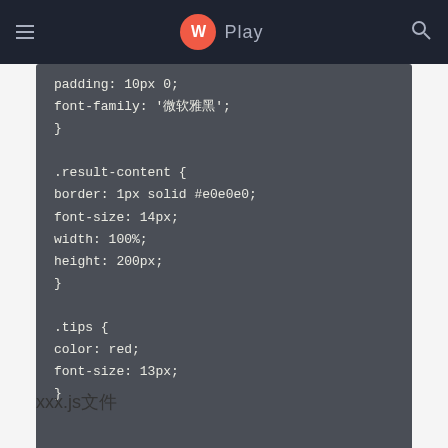W Play
padding: 10px 0;
font-family: '微软雅黑';
}

.result-content {
border: 1px solid #e0e0e0;
font-size: 14px;
width: 100%;
height: 200px;
}

.tips {
color: red;
font-size: 13px;
}
xxx.js文件